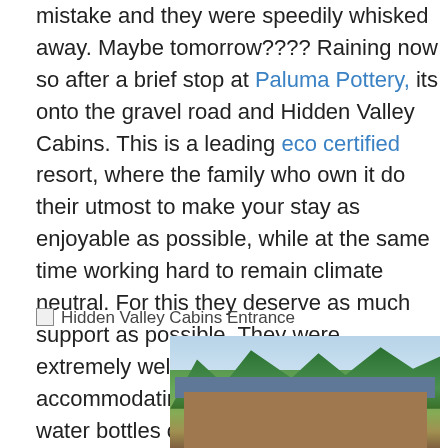mistake and they were speedily whisked away. Maybe tomorrow???? Raining now so after a brief stop at Paluma Pottery,  its onto the gravel road and Hidden Valley Cabins. This is a leading eco certified resort, where the family who own it do their utmost to make your stay as enjoyable as possible, while at the same time working hard to remain climate neutral. For this they deserve as much support as possible. They were extremely welcoming, friendly and accommodating, even looking for hot water bottles on this very cold night.
Hidden Valley Cabins Entrance
[Figure (photo): Photo of Hidden Valley Cabins entrance showing a low building with a blue/grey roof surrounded by tropical palm trees and lush green vegetation.]